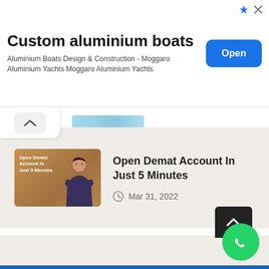[Figure (screenshot): Advertisement banner: 'Custom aluminium boats' with subtitle 'Aluminium Boats Design & Construction - Moggaro Aluminium Yachts Moggaro Aluminium Yachts' and a blue 'Open' button on the right.]
Open Demat Account In Just 5 Minutes
Mar 31, 2022